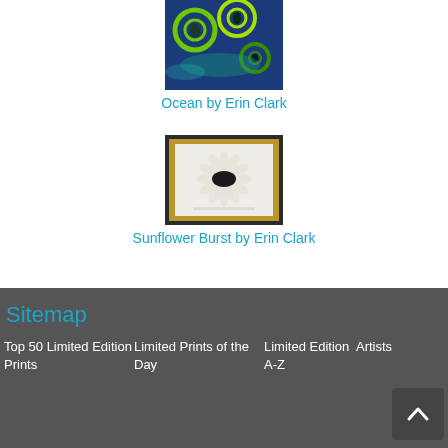[Figure (photo): Ocean artwork by Erin Clark - blue/green circular patterns]
Ocean by Erin Clark
[Figure (photo): Sunflower Burst artwork by Erin Clark - framed print with dark oval center and radiating petals]
Sunflower Burst by Erin Clark
Sitemap
Top 50 Limited Edition Prints
Limited Prints of the Day
Limited Edition A-Z
Artists